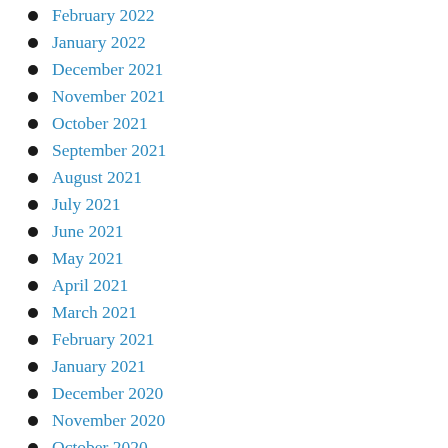February 2022
January 2022
December 2021
November 2021
October 2021
September 2021
August 2021
July 2021
June 2021
May 2021
April 2021
March 2021
February 2021
January 2021
December 2020
November 2020
October 2020